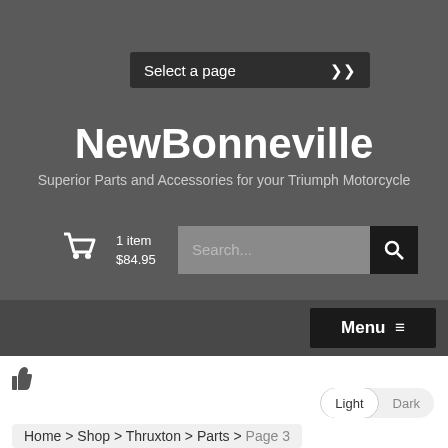[Figure (screenshot): Dropdown selector labeled 'Select a page' with chevron icon on dark grey background]
NewBonneville
Superior Parts and Accessories for your Triumph Motorcycle
1 item $84.95
[Figure (screenshot): Search input box with magnifying glass button]
[Figure (screenshot): Menu button with hamburger icon]
[Figure (screenshot): Thumbs up icon]
[Figure (screenshot): Light/Dark toggle switch with Light selected]
Home > Shop > Thruxton > Parts > Page 3